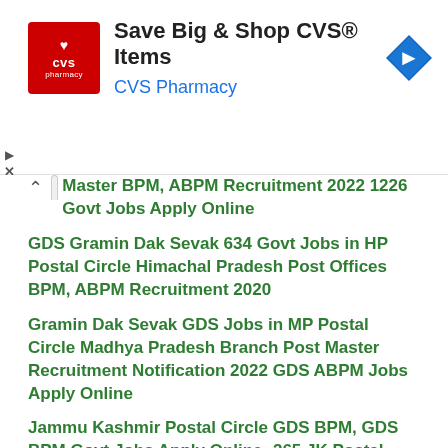[Figure (other): CVS Pharmacy advertisement banner with CVS logo, text 'Save Big & Shop CVS® Items', 'CVS Pharmacy' subtitle, and blue diamond arrow icon]
Master BPM, ABPM Recruitment 2022 1226 Govt Jobs Apply Online
GDS Gramin Dak Sevak 634 Govt Jobs in HP Postal Circle Himachal Pradesh Post Offices BPM, ABPM Recruitment 2020
Gramin Dak Sevak GDS Jobs in MP Postal Circle Madhya Pradesh Branch Post Master Recruitment Notification 2022 GDS ABPM Jobs Apply Online
Jammu Kashmir Postal Circle GDS BPM, GDS BPM Govt Jobs Apply Online -265 JK Postal Gramin Dak Sevak Jobs
Andhra Pradesh AP Post Offices Gramin Dak Sevak Branch Post Master 1716 Govt Jobs GDS BPM, ABPM Online Recruitment 2022